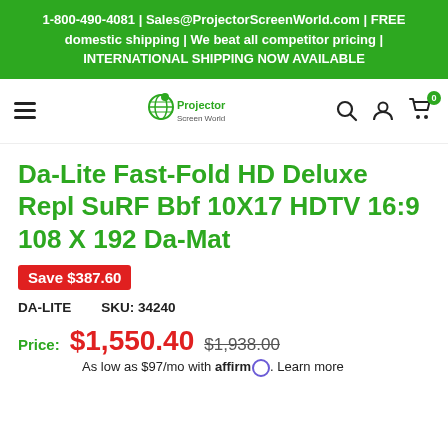1-800-490-4081 | Sales@ProjectorScreenWorld.com | FREE domestic shipping | We beat all competitor pricing | INTERNATIONAL SHIPPING NOW AVAILABLE
[Figure (logo): Projector Screen World logo with hamburger menu, search, account, and cart icons in navigation bar]
Da-Lite Fast-Fold HD Deluxe Repl SuRF Bbf 10X17 HDTV 16:9 108 X 192 Da-Mat
Save $387.60
DA-LITE   SKU: 34240
Price: $1,550.40  $1,938.00
As low as $97/mo with affirm. Learn more